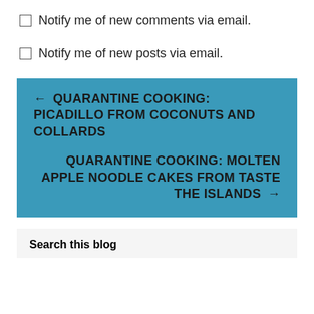Notify me of new comments via email.
Notify me of new posts via email.
← QUARANTINE COOKING: PICADILLO FROM COCONUTS AND COLLARDS
QUARANTINE COOKING: MOLTEN APPLE NOODLE CAKES FROM TASTE THE ISLANDS →
Search this blog